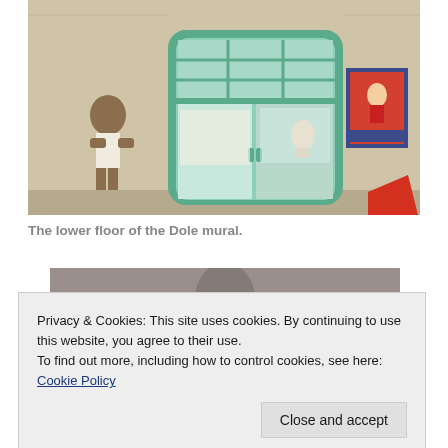[Figure (photo): Photograph of the lower floor of the Dole mural showing a storefront with green-framed windows, a sculpted figure on the left wall, and various items visible inside the shop window. A sign hangs on the right wall and a red object is visible at the bottom right.]
The lower floor of the Dole mural.
[Figure (photo): Partial photograph of another mural or artwork, cropped and partially obscured by the cookie consent banner.]
Privacy & Cookies: This site uses cookies. By continuing to use this website, you agree to their use.
To find out more, including how to control cookies, see here: Cookie Policy
Close and accept